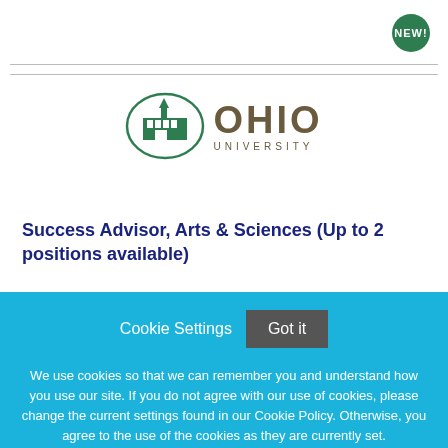[Figure (logo): NEW! badge - green circle with white text]
[Figure (logo): Ohio University logo with building seal and OHIO UNIVERSITY text]
Success Advisor, Arts & Sciences (Up to 2 positions available)
Cookie Settings  Got it
We use cookies so that we can remember you and understand how you use our site. If you do not agree with our use of cookies, please change the current settings found in our Cookie Policy. Otherwise, you agree to the use of the cookies as they are currently set.